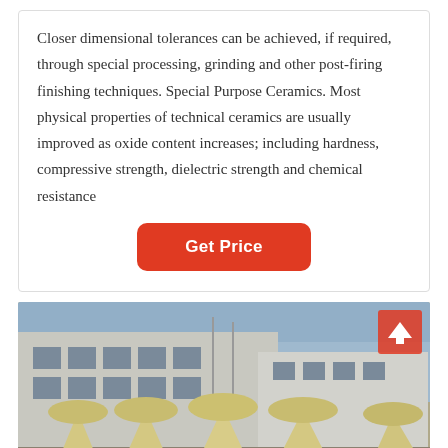Closer dimensional tolerances can be achieved, if required, through special processing, grinding and other post-firing finishing techniques. Special Purpose Ceramics. Most physical properties of technical ceramics are usually improved as oxide content increases; including hardness, compressive strength, dielectric strength and chemical resistance
[Figure (other): Button labeled 'Get Price' with red rounded rectangle background]
[Figure (photo): Photograph of large yellow industrial ceramic/grinding mill machines lined up in a row outside a factory building, with blue sky visible above]